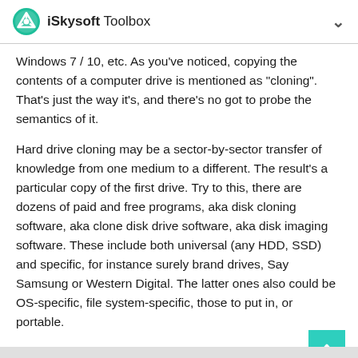iSkysoft Toolbox
Windows 7 / 10, etc. As you've noticed, copying the contents of a computer drive is mentioned as "cloning". That's just the way it's, and there's no got to probe the semantics of it.
Hard drive cloning may be a sector-by-sector transfer of knowledge from one medium to a different. The result's a particular copy of the first drive. Try to this, there are dozens of paid and free programs, aka disk cloning software, aka clone disk drive software, aka disk imaging software. These include both universal (any HDD, SSD) and specific, for instance surely brand drives, Say Samsung or Western Digital. The latter ones also could be OS-specific, file system-specific, those to put in, or portable.